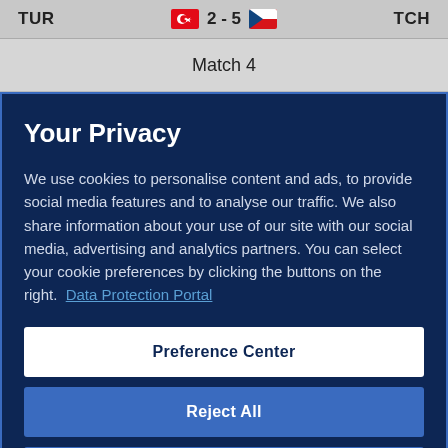TUR 2 - 5 TCH
Match 4
Your Privacy
We use cookies to personalise content and ads, to provide social media features and to analyse our traffic. We also share information about your use of our site with our social media, advertising and analytics partners. You can select your cookie preferences by clicking the buttons on the right.  Data Protection Portal
Preference Center
Reject All
I'm OK with that